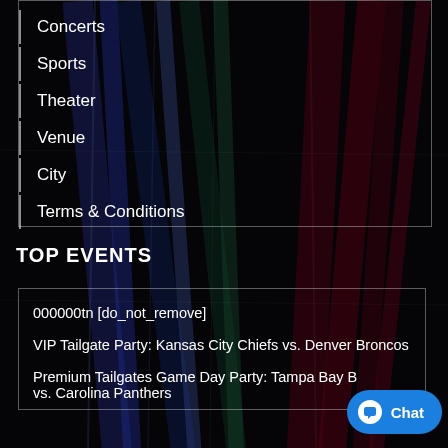[Figure (screenshot): Website navigation menu on dark colorful streaked background with menu items: HOME (partially visible), Concerts, Sports, Theater, Venue, City, Terms & Conditions]
Concerts
Sports
Theater
Venue
City
Terms & Conditions
TOP EVENTS
000000tn [do_not_remove]
VIP Tailgate Party: Kansas City Chiefs vs. Denver Broncos
Premium Tailgates Game Day Party: Tampa Bay B... vs. Carolina Panthers